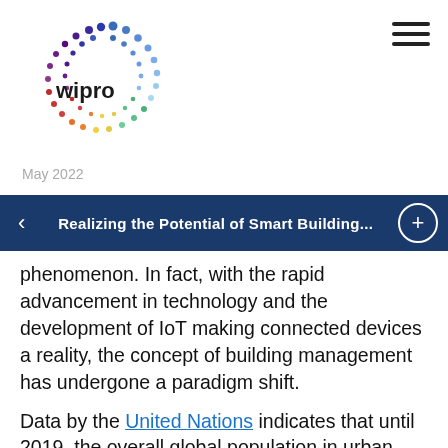Wipro | May 2022
Realizing the Potential of Smart Building...
phenomenon. In fact, with the rapid advancement in technology and the development of IoT making connected devices a reality, the concept of building management has undergone a paradigm shift.
Data by the United Nations indicates that until 2019, the overall global population in urban areas had increased to 55.7%. The concentration of people in urban areas in developed countries is almost 81%. In comparison, 51% of the developing world population lives in urban areas, implying that urban areas have a greater concentration of